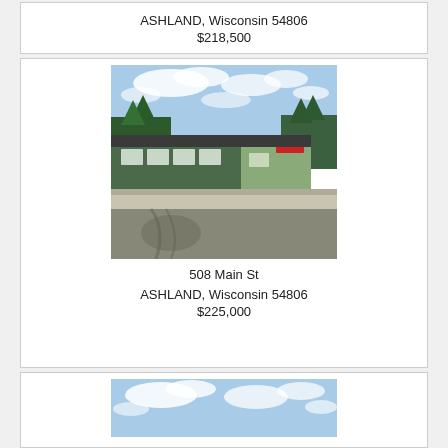ASHLAND, Wisconsin 54806
$218,500
[Figure (photo): Exterior photo of a low single-story commercial building with dark green siding and dark roof, fronting a wide street, trees visible in background, blue sky]
508 Main St
ASHLAND, Wisconsin 54806
$225,000
[Figure (photo): Blue sky with white clouds, partial view of property]